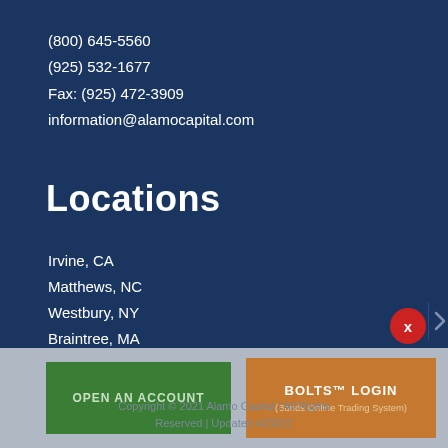(800) 645-5560
(925) 532-1677
Fax: (925) 472-3909
information@alamocapital.com
Locations
Irvine, CA
Matthews, NC
Westbury, NY
Braintree, MA
OPEN AN ACCOUNT
BOLTS™ LOGIN
(Bonds Online Trading System)
Copyright © 2021 Alamo Capital | All Rights Reserved | Updated 4/20/21